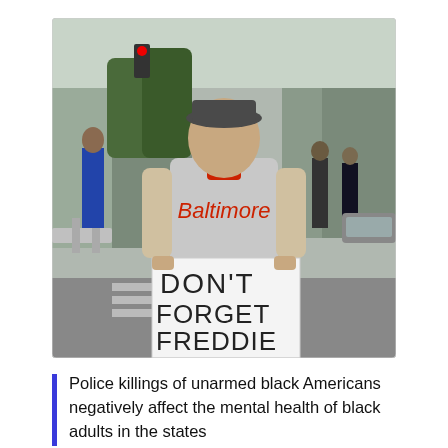[Figure (photo): A man in a gray Baltimore baseball jersey holds a hand-written sign reading 'DON'T FORGET FREDDIE' on a city street. Other people and barricades are visible in the background.]
Police killings of unarmed black Americans negatively affect the mental health of black adults in the states